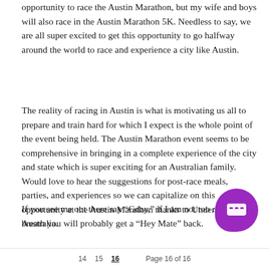opportunity to race the Austin Marathon, but my wife and boys will also race in the Austin Marathon 5K. Needless to say, we are all super excited to get this opportunity to go halfway around the world to race and experience a city like Austin.
The reality of racing in Austin is what is motivating us all to prepare and train hard for which I expect is the whole point of the event being held. The Austin Marathon event seems to be comprehensive in bringing in a complete experience of the city and state which is super exciting for an Australian family. Would love to hear the suggestions for post-race meals, parties, and experiences so we can capitalize on this opportunity at the Austin Marathon thanks to Under Armour Australia.
If you see me out there say “Gday,” if I am not too out of breath you will probably get a “Hey Mate” back.
14   15   16   Page 16 of 16